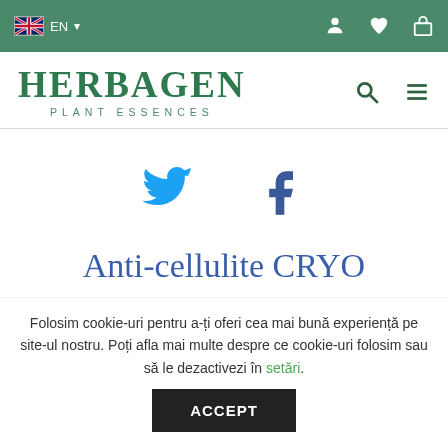EN — Herbagen Plant Essences navigation bar with language selector and icons
[Figure (logo): Herbagen Plant Essences logo in dark green serif font]
[Figure (illustration): Twitter bird icon and Facebook f icon in social media brand colors]
Anti-cellulite CRYO
Folosim cookie-uri pentru a-ți oferi cea mai bună experiență pe site-ul nostru. Poți afla mai multe despre ce cookie-uri folosim sau să le dezactivezi în setări.
ACCEPT